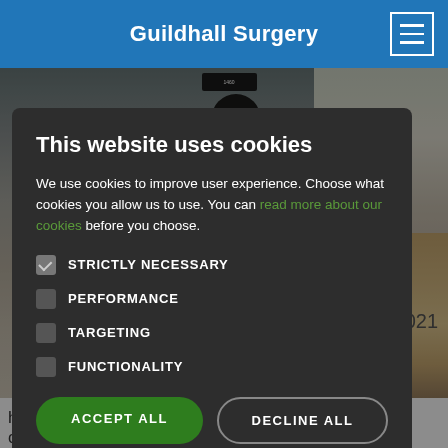Guildhall Surgery
[Figure (photo): Photo of Guildhall Surgery building exterior and a golden retriever dog visible to the right side]
5th Jun 2021
This website uses cookies
We use cookies to improve user experience. Choose what cookies you allow us to use. You can read more about our cookies before you choose.
STRICTLY NECESSARY
PERFORMANCE
TARGETING
FUNCTIONALITY
ACCEPT ALL
DECLINE ALL
have met Jasper the Therapy Dog owned by our very own Dr